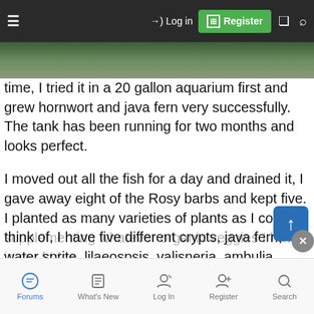Log in | Register
time, I tried it in a 20 gallon aquarium first and grew hornwort and java fern very successfully. The tank has been running for two months and looks perfect.
I moved out all the fish for a day and drained it, I gave away eight of the Rosy barbs and kept five. I planted as many varieties of plants as I could think of, I have five different crypts, java fern, water sprite, lilaeospsis, valisneria, ambulia, anubias, and I floated duckweed and water spangles. The softer plants have taken some nibbles but it's going pretty good so far. I'm feeding a veggie based flake and supplementing whatever organic veggies I have in my fridge
Forums | What's New | Log In | Register | Search